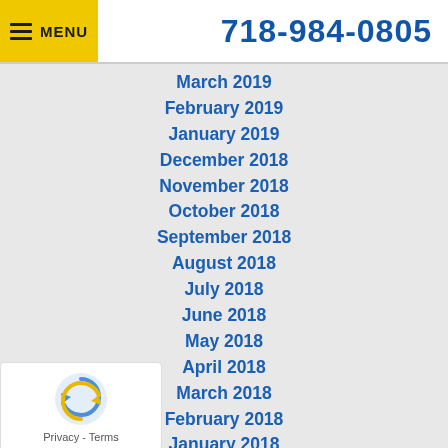Menu | 718-984-0805
March 2019
February 2019
January 2019
December 2018
November 2018
October 2018
September 2018
August 2018
July 2018
June 2018
May 2018
April 2018
March 2018
February 2018
January 2018
December 2017
November 2017
October 2017
September 2017